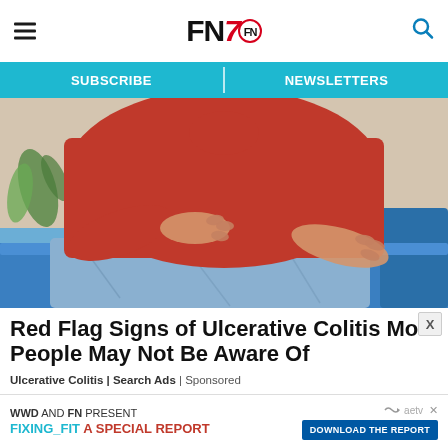FN7 — SUBSCRIBE | NEWSLETTERS
[Figure (photo): Person in red shirt and jeans sitting on a blue couch, clutching their abdomen/stomach area with both hands, suggesting abdominal pain.]
Red Flag Signs of Ulcerative Colitis Most People May Not Be Aware Of
Ulcerative Colitis | Search Ads | Sponsored
[Figure (other): Bottom advertisement banner: WWD AND FN PRESENT FIXING_FIT A SPECIAL REPORT — DOWNLOAD THE REPORT button, with aetv logo and X close button.]